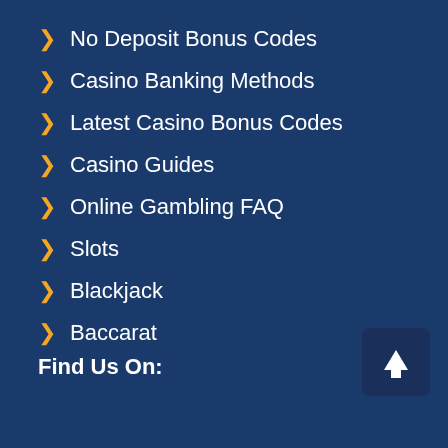No Deposit Bonus Codes
Casino Banking Methods
Latest Casino Bonus Codes
Casino Guides
Online Gambling FAQ
Slots
Blackjack
Baccarat
Find Us On: